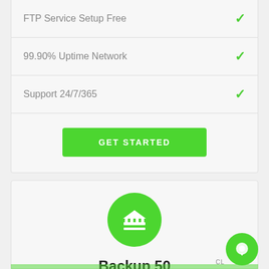FTP Service Setup Free ✓
99.90% Uptime Network ✓
Support 24/7/365 ✓
GET STARTED
[Figure (illustration): Green circle icon with white bank/institution building symbol]
Backup 50
[Figure (illustration): Green circle chat bubble button in bottom right corner with label CL]